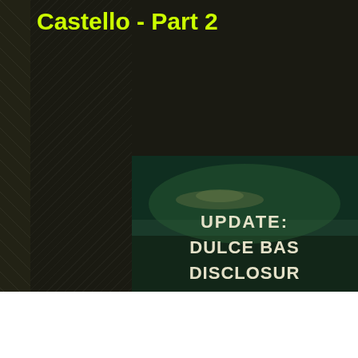Castello - Part 2
[Figure (screenshot): Dark themed image with text overlay reading 'UPDATE: DULCE BASE DISCLOSURE...' with dramatic dark green background and UFO/alien imagery]